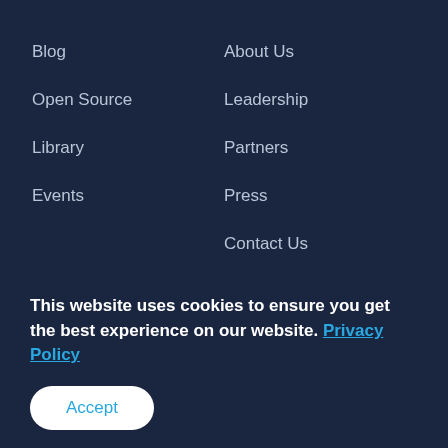Blog
Open Source
Library
Events
About Us
Leadership
Partners
Press
Contact Us
Careers
Anaconda Dividend
Anaconda FAQ
This website uses cookies to ensure you get the best experience on our website. Privacy Policy
Accept